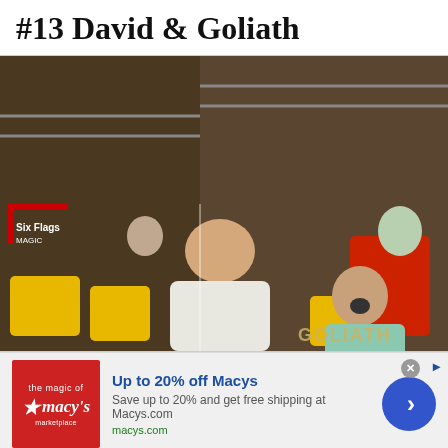#13 David & Goliath
[Figure (photo): Roller coaster ride photo showing people getting splashed with water. On the left, a person in a black top is hit with a wave of water splash. In the middle, a large person in a white shirt leans back with mouth open. On the right, a person in a teal sleeveless shirt reacts with open mouth. The photo has a Six Flags Magic Mountain watermark in the top left corner and 'GOLIATH' text visible in the bottom right.]
[Figure (infographic): Advertisement for Macy's. Red square logo with white star and 'macy's' text. Ad text reads: 'Up to 20% off Macys' in blue bold text. 'Save up to 20% and get free shipping at Macys.com' in gray. 'macys.com' in green. Blue circular arrow button on the right. Close button (x) and ad badge icon in top right corner.]